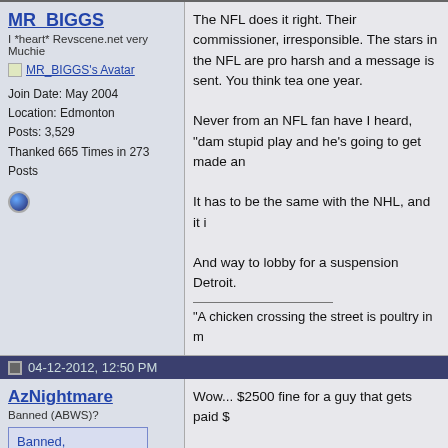MR_BIGGS
I *heart* Revscene.net very Muchie
MR_BIGGS's Avatar
Join Date: May 2004
Location: Edmonton
Posts: 3,529
Thanked 665 Times in 273 Posts
The NFL does it right. Their commissioner, irresponsible. The stars in the NFL are pro harsh and a message is sent. You think tea one year.

Never from an NFL fan have I heard, "dam stupid play and he's going to get made an

It has to be the same with the NHL, and it i

And way to lobby for a suspension Detroit.
"A chicken crossing the street is poultry in m
04-12-2012, 12:50 PM
AzNightmare
Banned (ABWS)?
Banned,
TOS violation
Wow... $2500 fine for a guy that gets paid $

I say that's open invitation to smash every
He could do it 3000x more before he break
Last edited by AzNightmare; Today at 10:09 AM
Join Date: Oct 2004
Location: Vancouver